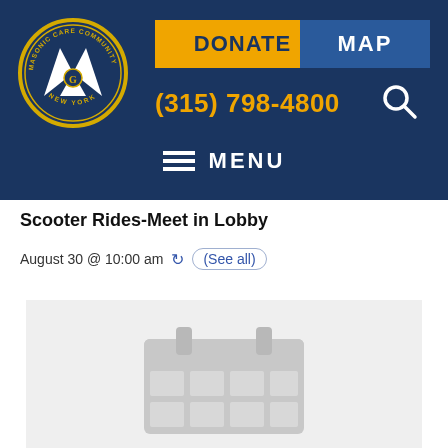[Figure (logo): Masonic Care Community of New York circular logo with white M symbol]
[Figure (other): DONATE button in yellow/gold background with dark blue bold text]
[Figure (other): MAP button in blue background with white bold text]
(315) 798-4800
[Figure (other): Search magnifying glass icon]
MENU
Scooter Rides-Meet in Lobby
August 30 @ 10:00 am
(See all)
[Figure (other): Calendar placeholder image in light gray with a darker gray calendar icon]